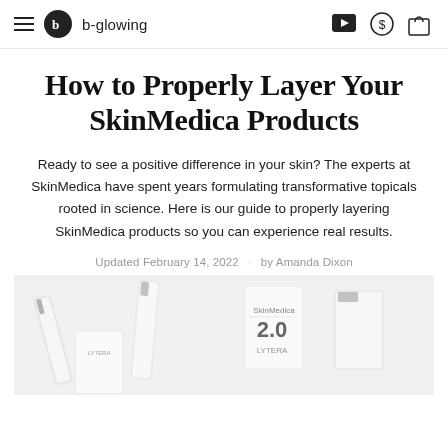b-glowing (navigation header with hamburger menu, logo, brand name, play button, profile icon, cart icon)
How to Properly Layer Your SkinMedica Products
Ready to see a positive difference in your skin? The experts at SkinMedica have spent years formulating transformative topicals rooted in science. Here is our guide to properly layering SkinMedica products so you can experience real results.
Updated February 14, 2022 · by Amanda Dixon
[Figure (photo): Photo of SkinMedica skincare product bottles and tubes arranged on a white surface, including a product labeled '2.0 LYTERA']